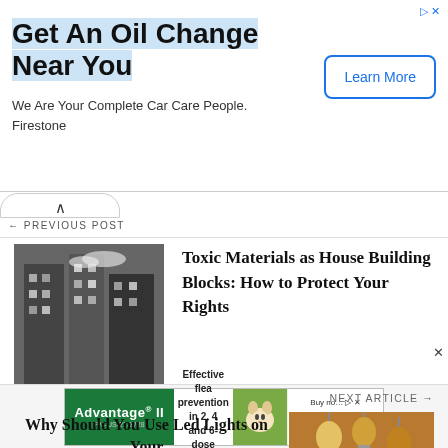[Figure (infographic): Advertisement banner for Firestone oil change service with 'Learn More' button]
← PREVIOUS POST
[Figure (photo): Black and white photo of a building exterior]
Toxic Materials as House Building Blocks: How to Protect Your Rights
NEXT ARTICLE →
Why Should You Use Led Lights on Your Commercial Premises
[Figure (photo): Photo of hanging light bulbs]
[Figure (infographic): Advertisement for Advantage II flea prevention at PetSmart]